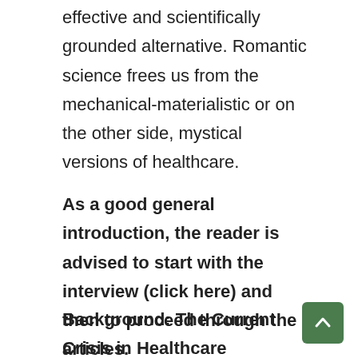effective and scientifically grounded alternative. Romantic science frees us from the mechanical-materialistic or on the other side, mystical versions of healthcare.
As a good general introduction, the reader is advised to start with the interview (click here) and then to proceed through the articles.
Background: The Current Crisis in Healthcare